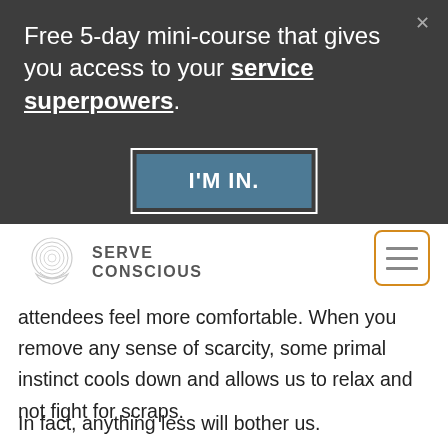Free 5-day mini-course that gives you access to your service superpowers.
[Figure (screenshot): Button labeled I'M IN. with white border outline and blue-grey fill, inside a dark modal overlay]
[Figure (logo): Serve Conscious logo with circular swirl hand graphic and text SERVE CONSCIOUS]
[Figure (other): Hamburger menu icon with three horizontal lines inside an orange-bordered rounded rectangle]
attendees feel more comfortable. When you remove any sense of scarcity, some primal instinct cools down and allows us to relax and not fight for scraps.
In fact, anything less will bother us.